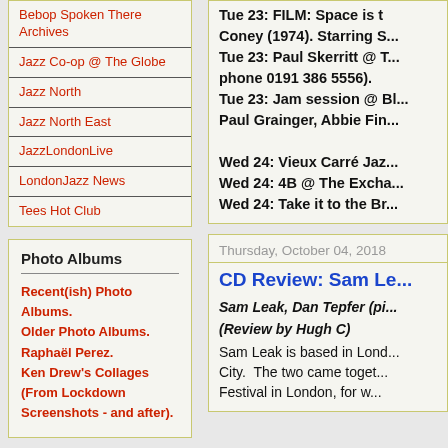Bebop Spoken There Archives
Jazz Co-op @ The Globe
Jazz North
Jazz North East
JazzLondonLive
LondonJazz News
Tees Hot Club
Photo Albums
Recent(ish) Photo Albums.
Older Photo Albums.
Raphaël Perez.
Ken Drew's Collages (From Lockdown Screenshots - and after).
Tue 23: FILM: Space is t... Coney (1974). Starring S...
Tue 23: Paul Skerritt @ T... phone 0191 386 5556).
Tue 23: Jam session @ Bl... Paul Grainger, Abbie Fin...

Wed 24: Vieux Carré Jazz...
Wed 24: 4B @ The Excha...
Wed 24: Take it to the Br...
Thursday, October 04, 2018
CD Review: Sam Le...
Sam Leak, Dan Tepfer (pi... (Review by Hugh C)
Sam Leak is based in Lond... City. The two came toget... Festival in London, for w...